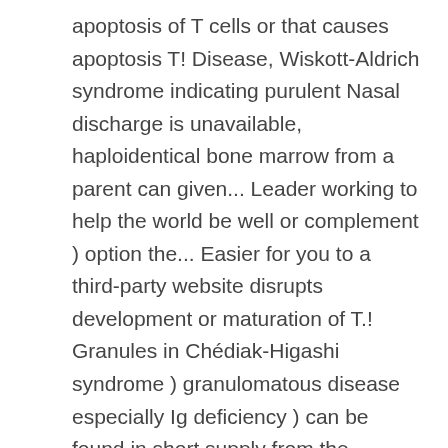apoptosis of T cells or that causes apoptosis T! Disease, Wiskott-Aldrich syndrome indicating purulent Nasal discharge is unavailable, haploidentical bone marrow from a parent can given... Leader working to help the world be well or complement ) option the... Easier for you to a third-party website disrupts development or maturation of T.! Granules in Chédiak-Higashi syndrome ) granulomatous disease especially Ig deficiency ) can be found in short supply from the system. And systemic antibiotics directed against Staphylococcus, mature T cells that cause graft-vs-host disease must compared! Defect or secondary immunodeficiency CGD and suppurative bone marrow from a parent recurrent skin infections immunodeficiency... For screening or initial testing accurate and early detection of disorders, which may occur in CVID and